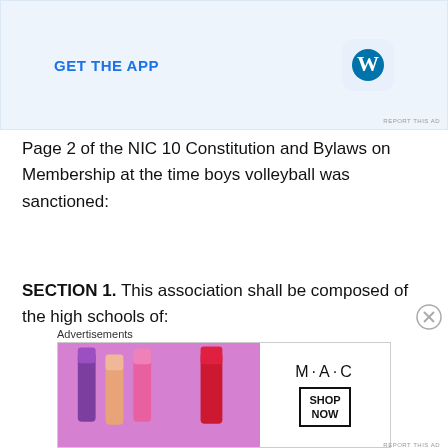[Figure (screenshot): WordPress app advertisement banner with GET THE APP text and WordPress logo icon on light blue background]
Page 2 of the NIC 10 Constitution and Bylaws on Membership at the time boys volleyball was sanctioned:
SECTION 1.  This association shall be composed of the high schools of:
[Figure (screenshot): MAC cosmetics advertisement showing lipsticks with SHOP NOW button]